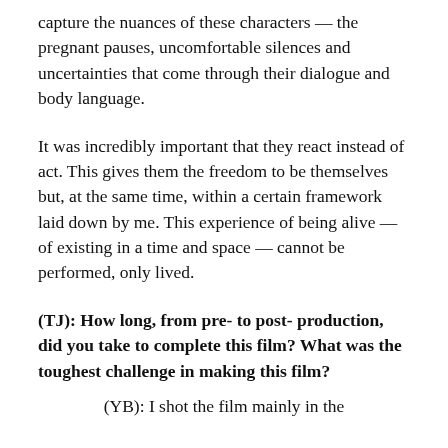capture the nuances of these characters — the pregnant pauses, uncomfortable silences and uncertainties that come through their dialogue and body language.
It was incredibly important that they react instead of act. This gives them the freedom to be themselves but, at the same time, within a certain framework laid down by me. This experience of being alive — of existing in a time and space — cannot be performed, only lived.
(TJ): How long, from pre- to post- production, did you take to complete this film? What was the toughest challenge in making this film?
(YB): I shot the film mainly in the